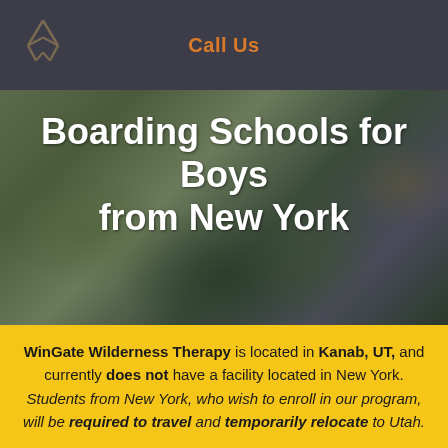Call Us
Boarding Schools for Boys from New York
WinGate Wilderness Therapy is located in Kanab, UT, and currently does not have a facility located in New York. Students from New York, who wish to enroll in our program, will be required to travel and temporarily relocate to Utah.